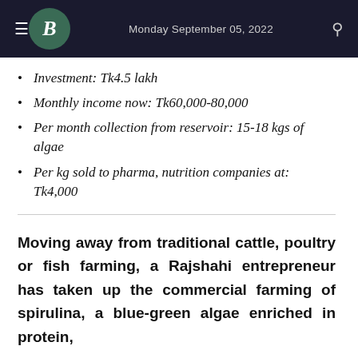Monday September 05, 2022
Investment: Tk4.5 lakh
Monthly income now: Tk60,000-80,000
Per month collection from reservoir: 15-18 kgs of algae
Per kg sold to pharma, nutrition companies at: Tk4,000
Moving away from traditional cattle, poultry or fish farming, a Rajshahi entrepreneur has taken up the commercial farming of spirulina, a blue-green algae enriched in protein,